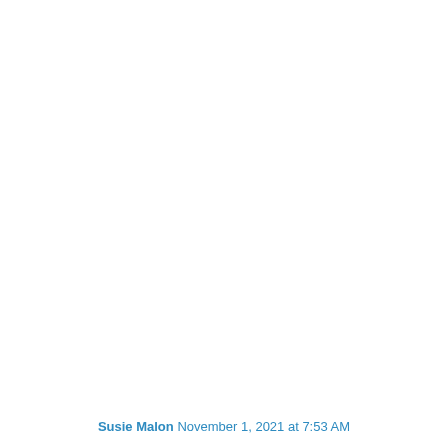Susie Malon November 1, 2021 at 7:53 AM